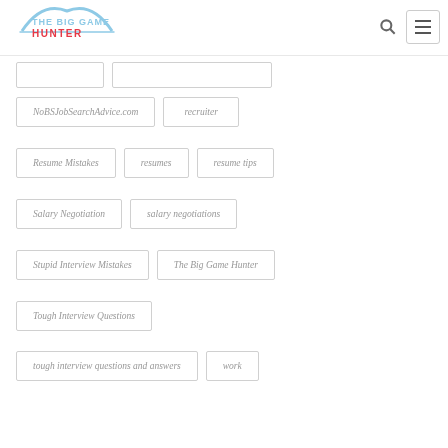The Big Game Hunter
NoBSJobSearchAdvice.com
recruiter
Resume Mistakes
resumes
resume tips
Salary Negotiation
salary negotiations
Stupid Interview Mistakes
The Big Game Hunter
Tough Interview Questions
tough interview questions and answers
work